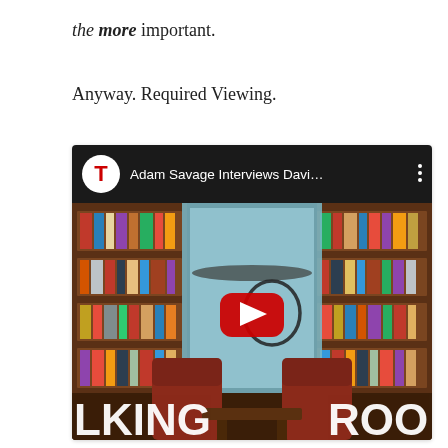the more important.
Anyway. Required Viewing.
[Figure (screenshot): YouTube video embed showing 'Adam Savage Interviews Davi...' with a thumbnail of a room with bookshelves, two red chairs, and the text 'LKING ROO' visible. A red YouTube play button is centered on the thumbnail.]